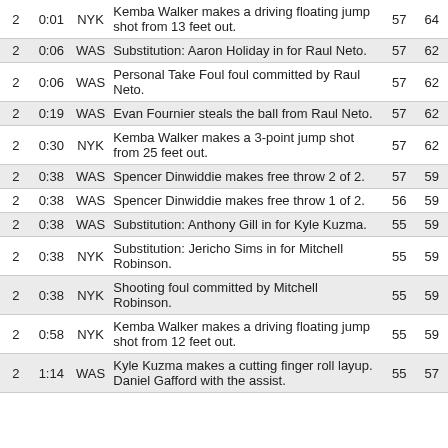| Qtr | Time | Team | Description | WAS | NYK |
| --- | --- | --- | --- | --- | --- |
| 2 | 0:01 | NYK | Kemba Walker makes a driving floating jump shot from 13 feet out. | 57 | 64 |
| 2 | 0:06 | WAS | Substitution: Aaron Holiday in for Raul Neto. | 57 | 62 |
| 2 | 0:06 | WAS | Personal Take Foul foul committed by Raul Neto. | 57 | 62 |
| 2 | 0:19 | WAS | Evan Fournier steals the ball from Raul Neto. | 57 | 62 |
| 2 | 0:30 | NYK | Kemba Walker makes a 3-point jump shot from 25 feet out. | 57 | 62 |
| 2 | 0:38 | WAS | Spencer Dinwiddie makes free throw 2 of 2. | 57 | 59 |
| 2 | 0:38 | WAS | Spencer Dinwiddie makes free throw 1 of 2. | 56 | 59 |
| 2 | 0:38 | WAS | Substitution: Anthony Gill in for Kyle Kuzma. | 55 | 59 |
| 2 | 0:38 | NYK | Substitution: Jericho Sims in for Mitchell Robinson. | 55 | 59 |
| 2 | 0:38 | NYK | Shooting foul committed by Mitchell Robinson. | 55 | 59 |
| 2 | 0:58 | NYK | Kemba Walker makes a driving floating jump shot from 12 feet out. | 55 | 59 |
| 2 | 1:14 | WAS | Kyle Kuzma makes a cutting finger roll layup. Daniel Gafford with the assist. | 55 | 57 |